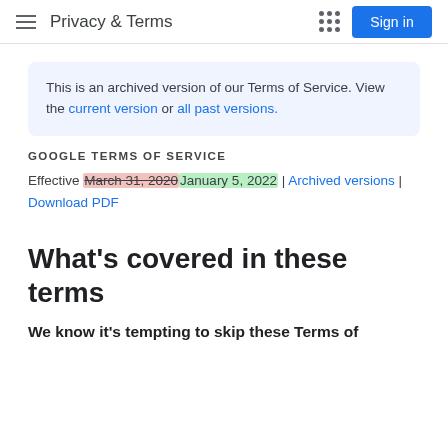Privacy & Terms
This is an archived version of our Terms of Service. View the current version or all past versions.
GOOGLE TERMS OF SERVICE
Effective March 31, 2020 January 5, 2022 | Archived versions | Download PDF
What's covered in these terms
We know it's tempting to skip these Terms of